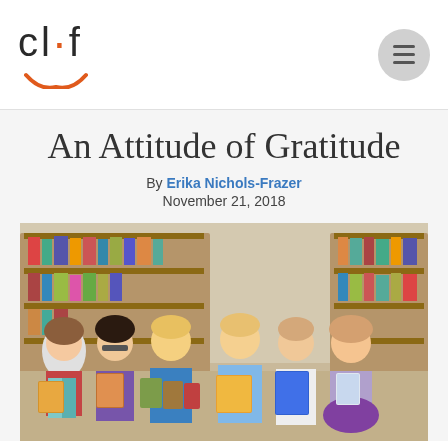cl·f (CLIF logo with smile)
An Attitude of Gratitude
By Erika Nichols-Frazer
November 21, 2018
[Figure (photo): Six young children standing in a library, each holding books, smiling at the camera. Bookshelves visible in background.]